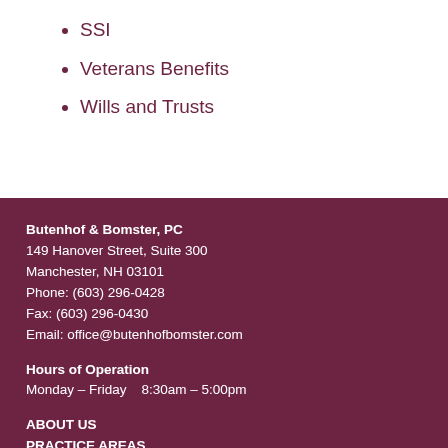SSI
Veterans Benefits
Wills and Trusts
Butenhof & Bomster, PC
149 Hanover Street, Suite 300
Manchester, NH 03101
Phone: (603) 296-0428
Fax: (603) 296-0430
Email: office@butenhofbomster.com
Hours of Operation
Monday – Friday    8:30am – 5:00pm
ABOUT US
PRACTICE AREAS
FOR ATTORNEYS